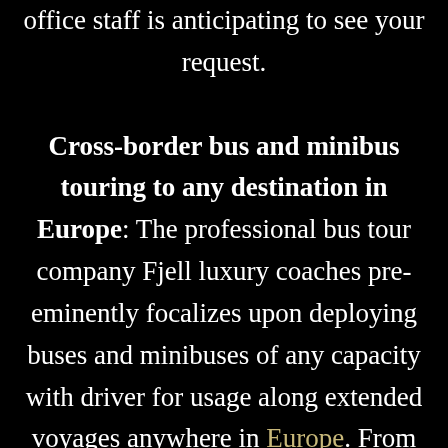office staff is anticipating to see your request. Cross-border bus and minibus touring to any destination in Europe: The professional bus tour company Fjell luxury coaches pre-eminently focalizes upon deploying buses and minibuses of any capacity with driver for usage along extended voyages anywhere in Europe. From